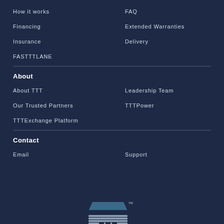How it works
FAQ
Financing
Extended Warranties
Insurance
Delivery
FASTTTLANE
About
About TTT
Leadership Team
Our Trusted Partners
TTTPower
TTTExchange Platform
Contact
Email
Support
[Figure (logo): TTT company logo — building/warehouse icon with horizontal lines and three small square windows, teal/slate colored with a trademark symbol]